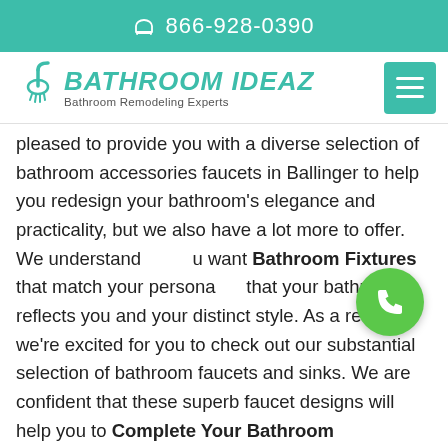866-928-0390
[Figure (logo): Bathroom Ideaz logo with shower icon and text 'Bathroom Remodeling Experts', and teal hamburger menu button]
pleased to provide you with a diverse selection of bathroom accessories faucets in Ballinger to help you redesign your bathroom's elegance and practicality, but we also have a lot more to offer. We understand you want Bathroom Fixtures that match your personality and that your bathroom reflects you and your distinct style. As a result, we're excited for you to check out our substantial selection of bathroom faucets and sinks. We are confident that these superb faucet designs will help you to Complete Your Bathroom Appearance and make it better than ever with so many styles and finish options in many categories.